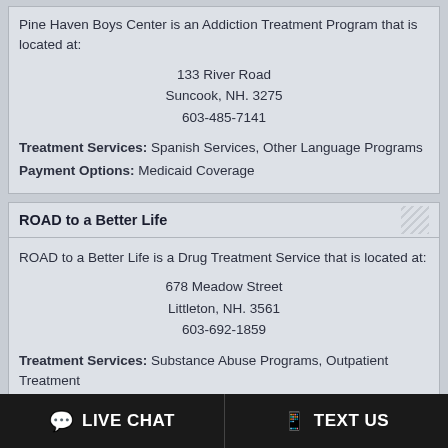Pine Haven Boys Center is an Addiction Treatment Program that is located at:
133 River Road
Suncook, NH. 3275
603-485-7141
Treatment Services: Spanish Services, Other Language Programs
Payment Options: Medicaid Coverage
ROAD to a Better Life
ROAD to a Better Life is a Drug Treatment Service that is located at:
678 Meadow Street
Littleton, NH. 3561
603-692-1859
Treatment Services: Substance Abuse Programs, Outpatient Treatment
Payment Options: Self Pay (Out of Pocket), Medicaid Coverage, Medicare Coverage, Private or Personal Health Insurance, Accepts Military Insurance (E.G., Va, Tricare)
Headrest Inc
LIVE CHAT
TEXT US